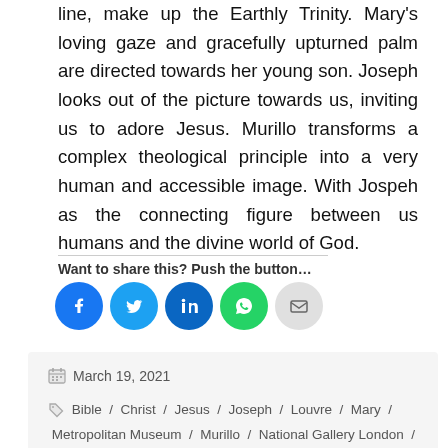line, make up the Earthly Trinity. Mary's loving gaze and gracefully upturned palm are directed towards her young son. Joseph looks out of the picture towards us, inviting us to adore Jesus. Murillo transforms a complex theological principle into a very human and accessible image. With Jospeh as the connecting figure between us humans and the divine world of God.
Want to share this? Push the button...
[Figure (infographic): Five circular social share buttons: Facebook (blue), Twitter (light blue), LinkedIn (dark blue), WhatsApp (green), Email (light grey)]
March 19, 2021
Bible / Christ / Jesus / Joseph / Louvre / Mary / Metropolitan Museum / Murillo / National Gallery London / National gallery of Art / New Testament / Prado /